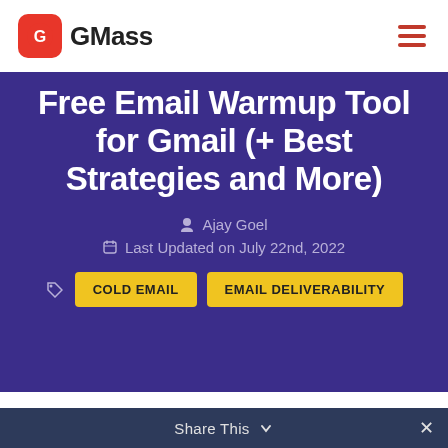GMass
Free Email Warmup Tool for Gmail (+ Best Strategies and More)
Ajay Goel
Last Updated on July 22nd, 2022
COLD EMAIL
EMAIL DELIVERABILITY
Share This